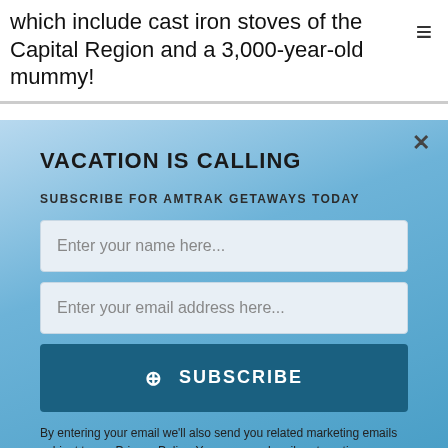which include cast iron stoves of the Capital Region and a 3,000-year-old mummy!
VACATION IS CALLING
SUBSCRIBE FOR AMTRAK GETAWAYS TODAY
Enter your name here...
Enter your email address here...
⊕ SUBSCRIBE
By entering your email we'll also send you related marketing emails subject to our Privacy Policy. You can unsubscribe at anytime.